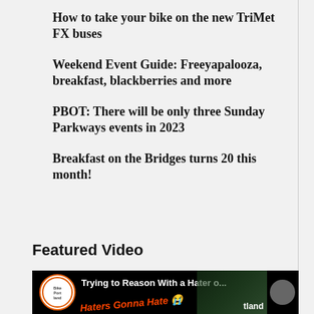How to take your bike on the new TriMet FX buses
Weekend Event Guide: Freeyapalooza, breakfast, blackberries and more
PBOT: There will be only three Sunday Parkways events in 2023
Breakfast on the Bridges turns 20 this month!
Featured Video
[Figure (screenshot): YouTube video thumbnail for 'Trying to Reason With a Hater o...' by BikePortland channel, showing text 'Haters Gonna Hate' overlaid on a scene with a car, with a moon/dark-mode icon on the right]